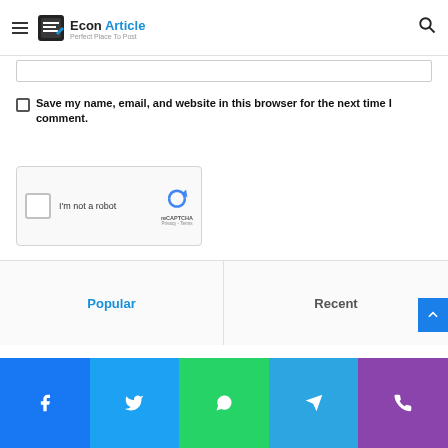Econ Article – Perfect Place To Post
[Figure (screenshot): Text input box (partially visible at top of comment form)]
Save my name, email, and website in this browser for the next time I comment.
[Figure (screenshot): reCAPTCHA widget showing checkbox and 'I'm not a robot' label with reCAPTCHA logo, Privacy and Terms links]
Post Comment
Popular
Recent
[Figure (screenshot): Social sharing bar with Facebook, Twitter, WhatsApp, Telegram, and Phone icons]